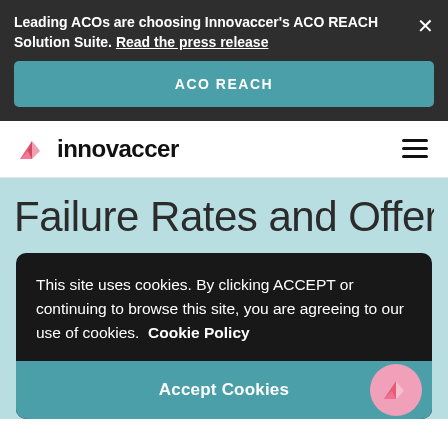Leading ACOs are choosing Innovaccer's ACO REACH Solution Suite. Read the press release
ACO REACH
[Figure (logo): Innovaccer logo with geometric pink/red icon and bold 'innovaccer' wordmark]
Failure Rates and Offer
This site uses cookies. By clicking ACCEPT or continuing to browse this site, you are agreeing to our use of cookies.  Cookie Policy
Accept Cookies